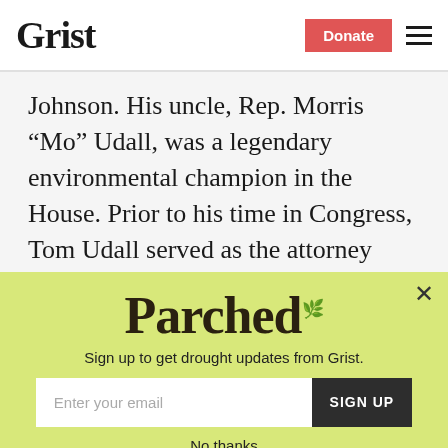Grist | Donate
Johnson. His uncle, Rep. Morris “Mo” Udall, was a legendary environmental champion in the House. Prior to his time in Congress, Tom Udall served as the attorney general of New Mexico for eight years.
“Those who say we can’t protect our
[Figure (other): Parched newsletter signup modal with yellow-green background. Contains 'Parched' logo text, subtitle 'Sign up to get drought updates from Grist.', email input field with placeholder 'Enter your email', a dark 'SIGN UP' button, and a 'No thanks' underlined link. A close (X) button is in the top right corner.]